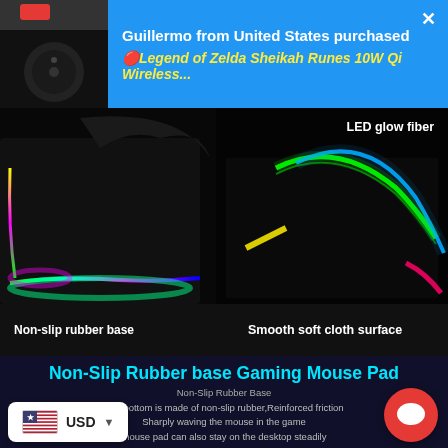Guillermo from United States purchased
🔴Legend of Zelda Sheikah Runes 10W Qi Wireless...
[Figure (photo): RGB LED gaming mouse pad close-up showing non-slip rubber base and LED glow fiber edges against dark background. Left photo shows curled corner with multicolor RGB LEDs. Right photo shows close-up of LED glow fiber strips.]
LED glow fiber
Non-slip rubber base
Smooth soft cloth surface
Non-Slip Rubber base Gaming Mouse Pad
Non-Slip Rubber Base
The bottom is made of non-slip rubber,Reinforced friction Sharply waving the mouse in the game mouse pad can also stay on the desktop steadily
USD ▼